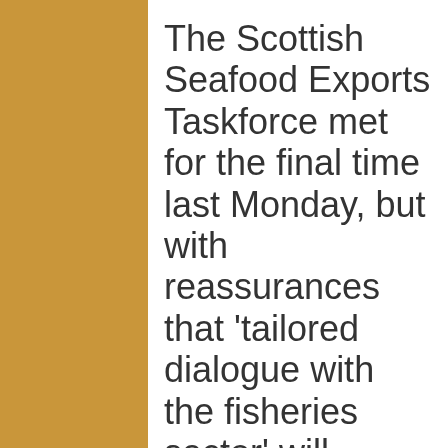The Scottish Seafood Exports Taskforce met for the final time last Monday, but with reassurances that ‘tailored dialogue with the fisheries sector’ will continue.
The taskforce grew from consultation with the industry to address the export issues experienced after Britain left the EU. It brought together key industry representatives from the catching, processing and aquaculture segments with senior political figures and officials from both the UK and Scottish governments.